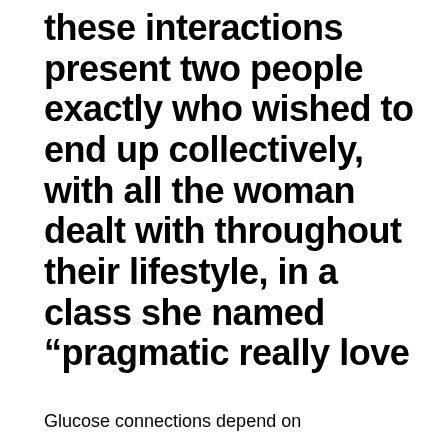these interactions present two people exactly who wished to end up collectively, with all the woman dealt with throughout their lifestyle, in a class she named “pragmatic really love
Glucose connections depend on